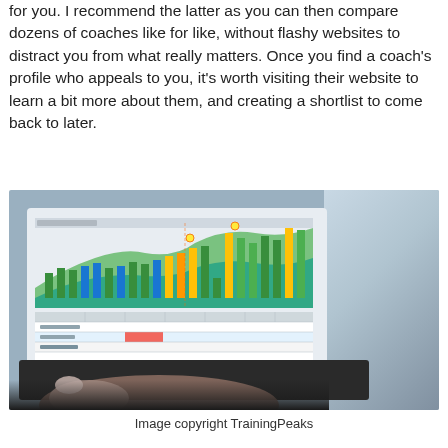for you. I recommend the latter as you can then compare dozens of coaches like for like, without flashy websites to distract you from what really matters. Once you find a coach's profile who appeals to you, it's worth visiting their website to learn a bit more about them, and creating a shortlist to come back to later.
[Figure (photo): Person typing on a laptop displaying a TrainingPeaks dashboard with charts and data tables. Background shows blurred indoor environment.]
Image copyright TrainingPeaks